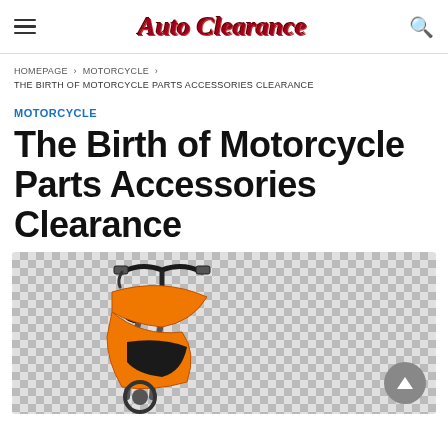Auto Clearance
HOMEPAGE > MOTORCYCLE > THE BIRTH OF MOTORCYCLE PARTS ACCESSORIES CLEARANCE
MOTORCYCLE
The Birth of Motorcycle Parts Accessories Clearance
[Figure (photo): Motorcycle handlebars and front portion of an orange motorcycle on a checkered transparent background]